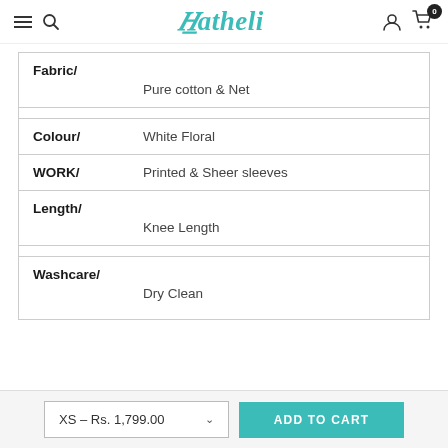Hatheli — navigation header with hamburger menu, search, logo, user icon, cart (0)
| Attribute | Value |
| --- | --- |
| Fabric/ | Pure cotton & Net |
| Colour/ | White Floral |
| WORK/ | Printed & Sheer sleeves |
| Length/ | Knee Length |
| Washcare/ | Dry Clean |
XS – Rs. 1,799.00  ADD TO CART